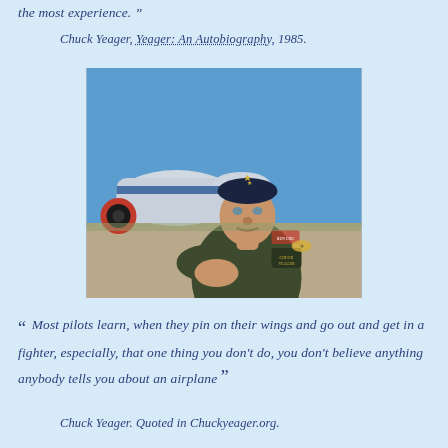the most experience. ”
Chuck Yeager, Yeager: An Autobiography, 1985.
[Figure (photo): Chuck Yeager in flight suit and military beret, standing in front of a jet aircraft on a runway, looking directly at the camera with arms resting forward.]
“ Most pilots learn, when they pin on their wings and go out and get in a fighter, especially, that one thing you don’t do, you don’t believe anything anybody tells you about an airplane ”
Chuck Yeager. Quoted in Chuckyeager.org.